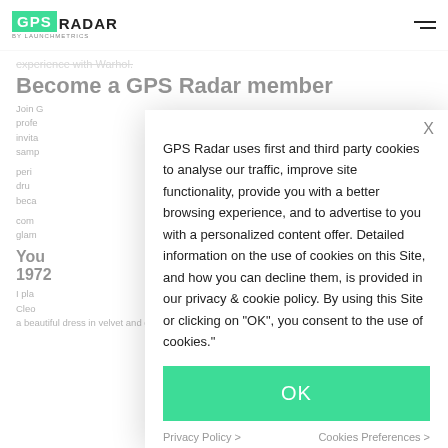GPS RADAR by LAUNCHMETRICS
experience with Warhol.
Become a GPS Radar member
Join G... profe... invita... samp...
peri... dru... beca...
com... glam...
You... 1972...
I pla... Cleo... a beautiful dress in velvet and gold braids. The
GPS Radar uses first and third party cookies to analyse our traffic, improve site functionality, provide you with a better browsing experience, and to advertise to you with a personalized content offer. Detailed information on the use of cookies on this Site, and how you can decline them, is provided in our privacy & cookie policy. By using this Site or clicking on "OK", you consent to the use of cookies."
OK
Privacy Policy >
Cookies Preferences >